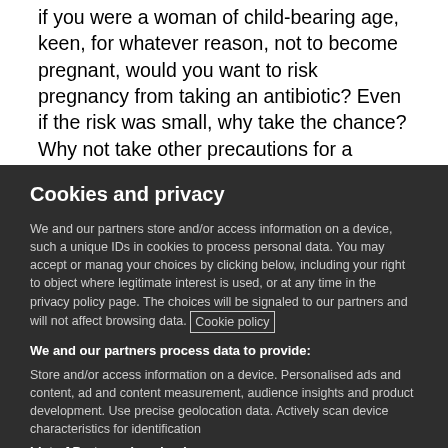if you were a woman of child-bearing age, keen, for whatever reason, not to become pregnant, would you want to risk pregnancy from taking an antibiotic? Even if the risk was small, why take the chance? Why not take other precautions for a
Cookies and privacy
We and our partners store and/or access information on a device, such as unique IDs in cookies to process personal data. You may accept or manage your choices by clicking below, including your right to object where legitimate interest is used, or at any time in the privacy policy page. These choices will be signaled to our partners and will not affect browsing data. Cookie policy
We and our partners process data to provide:
Store and/or access information on a device. Personalised ads and content, ad and content measurement, audience insights and product development. Use precise geolocation data. Actively scan device characteristics for identification
List of Partners (vendors)
I Accept